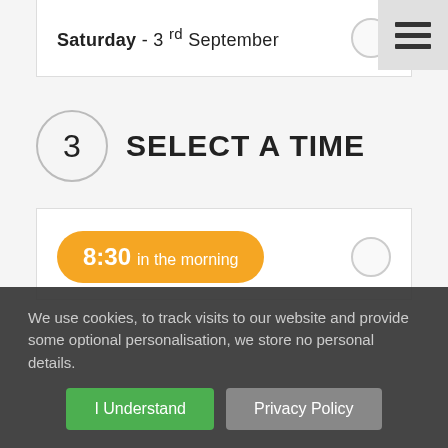Saturday - 3rd September
3 SELECT A TIME
8:30 in the morning
9:00 in the morning
We use cookies, to track visits to our website and provide some optional personalisation, we store no personal details.
I Understand
Privacy Policy